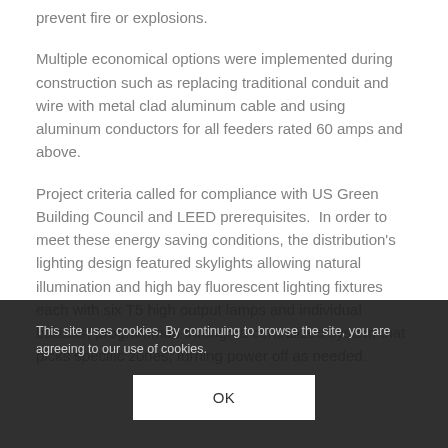prevent fire or explosions.
Multiple economical options were implemented during construction such as replacing traditional conduit and wire with metal clad aluminum cable and using aluminum conductors for all feeders rated 60 amps and above.
Project criteria called for compliance with US Green Building Council and LEED prerequisites.  In order to meet these energy saving conditions, the distribution’s lighting design featured skylights allowing natural illumination and high bay fluorescent lighting fixtures each with six T5 high output lamps and individual ballasts, programmed through a centralized system that picks specific zones, turning power off as needed.
This site uses cookies. By continuing to browse the site, you are agreeing to our use of cookies.